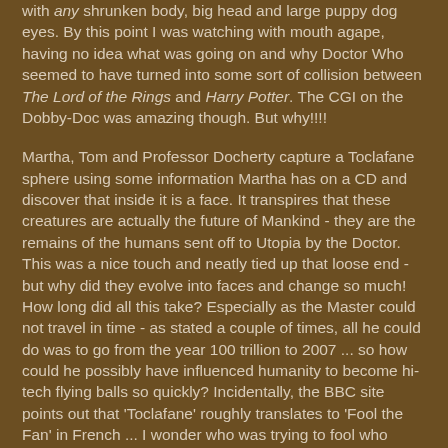with tiny shrunken body, big head and large puppy dog eyes. By this point I was watching with mouth agape, having no idea what was going on and why Doctor Who seemed to have turned into some sort of collision between The Lord of the Rings and Harry Potter. The CGI on the Dobby-Doc was amazing though. But why!!!!
Martha, Tom and Professor Docherty capture a Toclafane sphere using some information Martha has on a CD and discover that inside it is a face. It transpires that these creatures are actually the future of Mankind - they are the remains of the humans sent off to Utopia by the Doctor. This was a nice touch and neatly tied up that loose end - but why did they evolve into faces and change so much! How long did all this take? Especially as the Master could not travel in time - as stated a couple of times, all he could do was to go from the year 100 trillion to 2007 ... so how could he possibly have influenced humanity to become hi-tech flying balls so quickly? Incidentally, the BBC site points out that 'Toclafane' roughly translates to 'Fool the Fan' in French ... I wonder who was trying to fool who here?
Now we discover that the Master is trying to create a new...